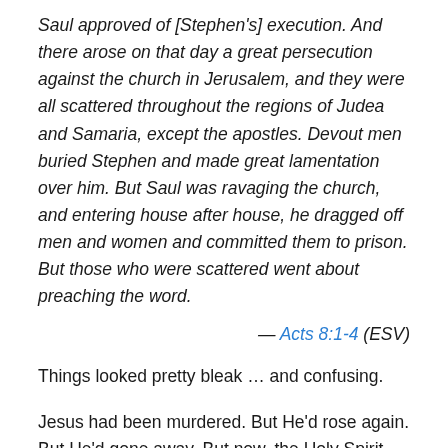Saul approved of [Stephen's] execution. And there arose on that day a great persecution against the church in Jerusalem, and they were all scattered throughout the regions of Judea and Samaria, except the apostles. Devout men buried Stephen and made great lamentation over him. But Saul was ravaging the church, and entering house after house, he dragged off men and women and committed them to prison. But those who were scattered went about preaching the word.
— Acts 8:1-4 (ESV)
Things looked pretty bleak … and confusing.
Jesus had been murdered. But He'd rose again. But He'd gone away. But now, the Holy Spirit had come (in